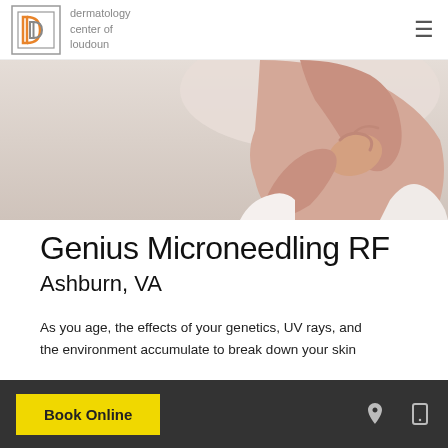dermatology center of loudoun
[Figure (photo): Woman raising her arm, touching her neck/shoulder area with her hand, shown against a light grey background. The image is cropped to show the torso area.]
Genius Microneedling RF
Ashburn, VA
As you age, the effects of your genetics, UV rays, and the environment accumulate to break down your skin
Book Online